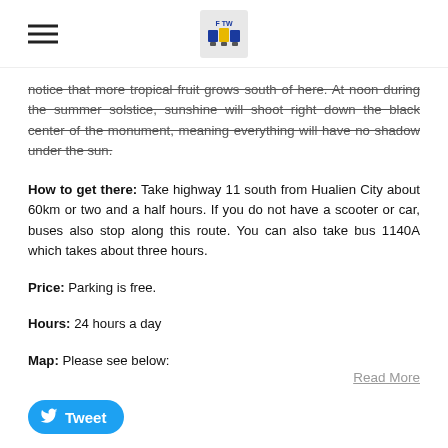FOTW logo and hamburger menu
notice that more tropical fruit grows south of here. At noon during the summer solstice, sunshine will shoot right down the black center of the monument, meaning everything will have no shadow under the sun.
How to get there: Take highway 11 south from Hualien City about 60km or two and a half hours. If you do not have a scooter or car, buses also stop along this route. You can also take bus 1140A which takes about three hours.
Price: Parking is free.
Hours: 24 hours a day
Map: Please see below:
Read More
Tweet